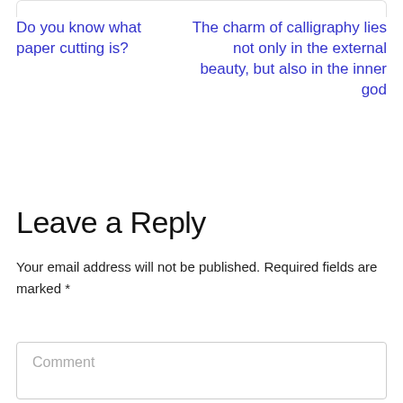Do you know what paper cutting is?
The charm of calligraphy lies not only in the external beauty, but also in the inner god
Leave a Reply
Your email address will not be published. Required fields are marked *
Comment